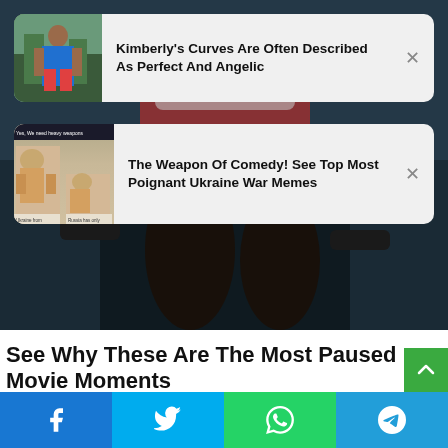[Figure (photo): Advertisement card with thumbnail of woman in blue outfit. Text: Kimberly's Curves Are Often Described As Perfect And Angelic]
[Figure (photo): Advertisement card with meme thumbnail. Text: The Weapon Of Comedy! See Top Most Poignant Ukraine War Memes]
[Figure (photo): Background dark movie scene showing person's legs seated in chair]
See Why These Are The Most Paused Movie Moments
TRAITSLAB
[Figure (infographic): Social sharing bar with Facebook, Twitter, WhatsApp, and Telegram buttons]